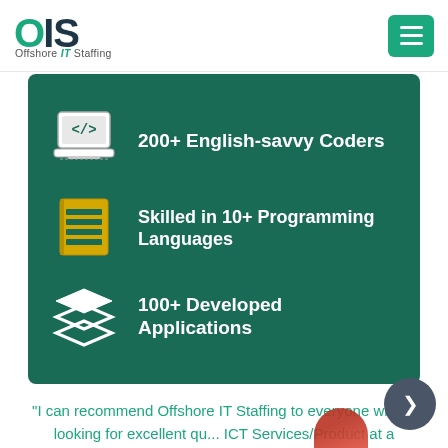[Figure (logo): OIS Offshore IT Staffing logo — teal O, dark IS, with tagline Offshore IT Staffing]
[Figure (other): Teal hamburger menu button (three white bars)]
[Figure (infographic): Dark teal panel with three rows: laptop/code icon + '200+ English-savvy Coders', document icon + 'Skilled in 10+ Programming Languages', layers icon + '100+ Developed Applications']
"I can recommend Offshore IT Staffing to everyone who is looking for excellent qu... ICT Services/Product at a transparen...